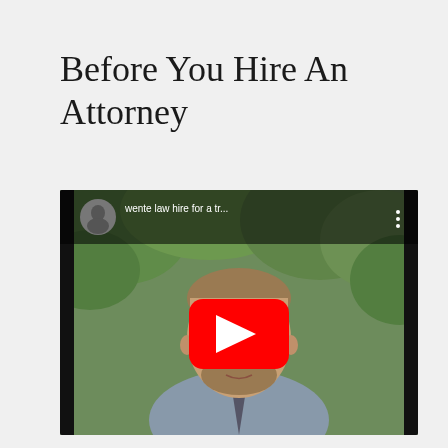Before You Hire An Attorney
[Figure (screenshot): YouTube video thumbnail showing a man with beard in a blue shirt outdoors with trees in background. YouTube channel: 'wente law hire for a tr...'. Large red YouTube play button in center.]